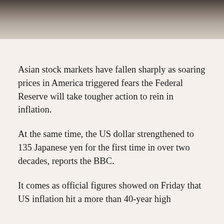[Figure (photo): Partial photograph visible at top of page, showing a dark surface with a blurred object, appears to be a financial or news article header image]
Asian stock markets have fallen sharply as soaring prices in America triggered fears the Federal Reserve will take tougher action to rein in inflation.
At the same time, the US dollar strengthened to 135 Japanese yen for the first time in over two decades, reports the BBC.
It comes as official figures showed on Friday that US inflation hit a more than 40-year high